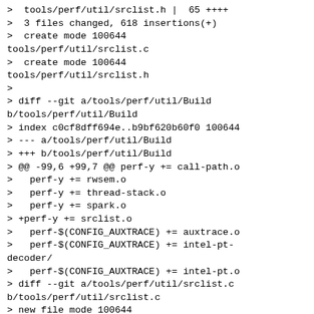>  tools/perf/util/srclist.h |  65 ++++
>  3 files changed, 618 insertions(+)
>  create mode 100644 tools/perf/util/srclist.c
>  create mode 100644 tools/perf/util/srclist.h
> 
> diff --git a/tools/perf/util/Build b/tools/perf/util/Build
> index c0cf8dff694e..b9bf620b60f0 100644
> --- a/tools/perf/util/Build
> +++ b/tools/perf/util/Build
> @@ -99,6 +99,7 @@ perf-y += call-path.o
>   perf-y += rwsem.o
>   perf-y += thread-stack.o
>   perf-y += spark.o
> +perf-y += srclist.o
>   perf-$(CONFIG_AUXTRACE) += auxtrace.o
>   perf-$(CONFIG_AUXTRACE) += intel-pt-decoder/
>   perf-$(CONFIG_AUXTRACE) += intel-pt.o
> diff --git a/tools/perf/util/srclist.c b/tools/perf/util/srclist.c
> new file mode 100644
> index 000000000000..cb1d42a3a8ed
> --- /dev/null
> +++ b/tools/perf/util/srclist.c
> @@ -0,0 +1,552 @@
> +// SPDX-License-Identifier: GPL-2.0
> +/*